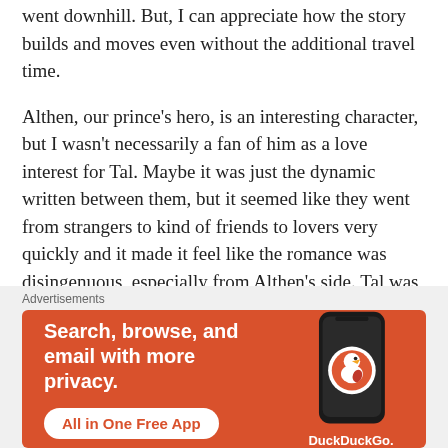went downhill. But, I can appreciate how the story builds and moves even without the additional travel time.
Althen, our prince's hero, is an interesting character, but I wasn't necessarily a fan of him as a love interest for Tal. Maybe it was just the dynamic written between them, but it seemed like they went from strangers to kind of friends to lovers very quickly and it made it feel like the romance was disingenuous, especially from Althen's side. Tal was in love with this boy from the second he laid eyes on him, he had no chance, but Althen definitely did not seem interested at all until suddenly he was. But as a person, I love Althen. I thought he was very sweet and kind hearted, even as he's
Advertisements
[Figure (infographic): DuckDuckGo advertisement banner with orange background. Left side text: 'Search, browse, and email with more privacy.' with a white rounded button 'All in One Free App'. Right side shows a smartphone with DuckDuckGo logo and text 'DuckDuckGo.' below.]